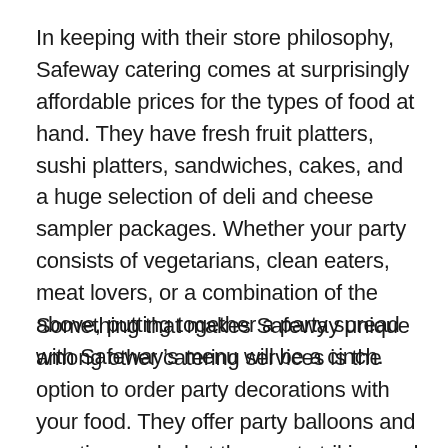In keeping with their store philosophy, Safeway catering comes at surprisingly affordable prices for the types of food at hand. They have fresh fruit platters, sushi platters, sandwiches, cakes, and a huge selection of deli and cheese sampler packages. Whether your party consists of vegetarians, clean eaters, meat lovers, or a combination of the above, putting together a party spread with Safeway’s menu will be a cinch.
Something that makes Safeway unique among other catering services is the option to order party decorations with your food. They offer party balloons and greeting cards, but the most striking and appealing choice are their flower